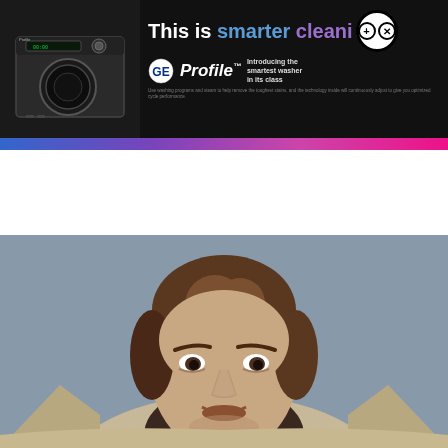[Figure (infographic): GE Profile washer advertisement banner. Black background with image of washing machine on left. Text reads 'This is smarter cleaning' with 'smarter' in blue and 'cleani' in purple, followed by a plus/x badge icon. GE Profile logo with 'Introducing the smartest washer in its class' tagline. Blue-to-pink gradient bar at bottom of banner.]
[Figure (photo): Close-up photo of a man with medium-length brown hair leaning forward against a gray-blue background, wearing a dark brown turtleneck and tan/beige outer garment. He appears to be a well-known actor in a movie character pose.]